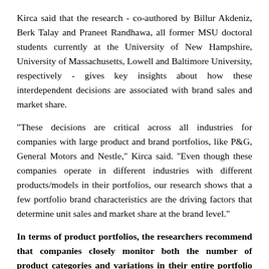Kirca said that the research - co-authored by Billur Akdeniz, Berk Talay and Praneet Randhawa, all former MSU doctoral students currently at the University of New Hampshire, University of Massachusetts, Lowell and Baltimore University, respectively - gives key insights about how these interdependent decisions are associated with brand sales and market share.
"These decisions are critical across all industries for companies with large product and brand portfolios, like P&G, General Motors and Nestle," Kirca said. "Even though these companies operate in different industries with different products/models in their portfolios, our research shows that a few portfolio brand characteristics are the driving factors that determine unit sales and market share at the brand level."
In terms of product portfolios, the researchers recommend that companies closely monitor both the number of product categories and variations in their entire portfolio to not get too big.
"The more products you have in your portfolios might mean you're selling more products, but if you are making so many versions of the same product with different brands - like an auto